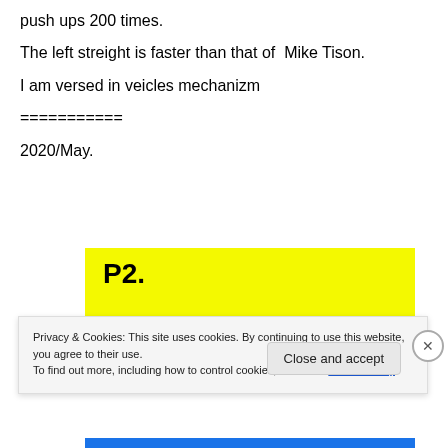push ups 200 times.
The left streight is faster than that of  Mike Tison.
I am versed in veicles mechanizm
===========
2020/May.
[Figure (other): Yellow highlighted box with bold text 'P2.' followed by a blue bar at the bottom]
Privacy & Cookies: This site uses cookies. By continuing to use this website, you agree to their use.
To find out more, including how to control cookies, see here: Cookie Policy